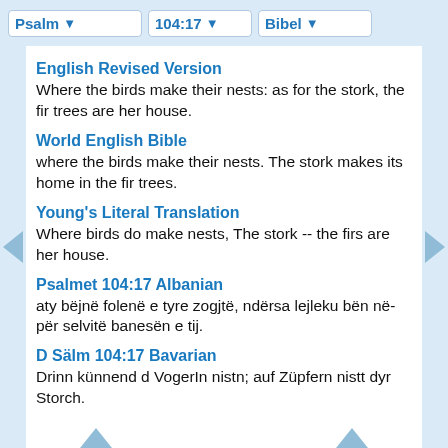Psalm | 104:17 | Bibel
English Revised Version
Where the birds make their nests: as for the stork, the fir trees are her house.
World English Bible
where the birds make their nests. The stork makes its home in the fir trees.
Young's Literal Translation
Where birds do make nests, The stork -- the firs are her house.
Psalmet 104:17 Albanian
aty bëjnë folenë e tyre zogjtë, ndërsa lejleku bën nëpër selvitë banesën e tij.
D Sälm 104:17 Bavarian
Drinn künnend d VogerIn nistn; auf Züpfern nistt dyr Storch.